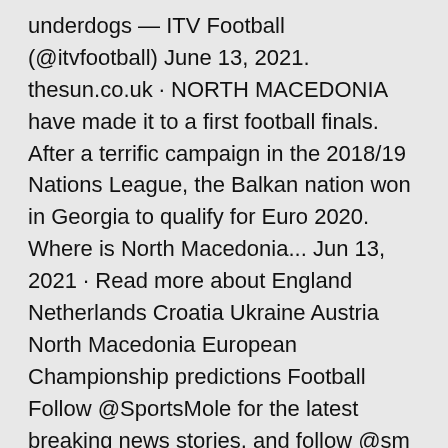underdogs — ITV Football (@itvfootball) June 13, 2021. thesun.co.uk · NORTH MACEDONIA have made it to a first football finals. After a terrific campaign in the 2018/19 Nations League, the Balkan nation won in Georgia to qualify for Euro 2020. Where is North Macedonia... Jun 13, 2021 · Read more about England Netherlands Croatia Ukraine Austria North Macedonia European Championship predictions Football Follow @SportsMole for the latest breaking news stories, and follow @sm Get a report of the Austria vs.
Euro 2020 Group C. Ukraine v North Macedonia. Euro 2020 Group C. Thu 17th June 2021 5:00pm WATCH LIVE. Euro 2020 Group C. · Every game will be available for live stream on ESPN+ and the ESPN app. Games will also be available via streaming services like fuboTV and Sling TV. Ukraine v North Macedonia. S...